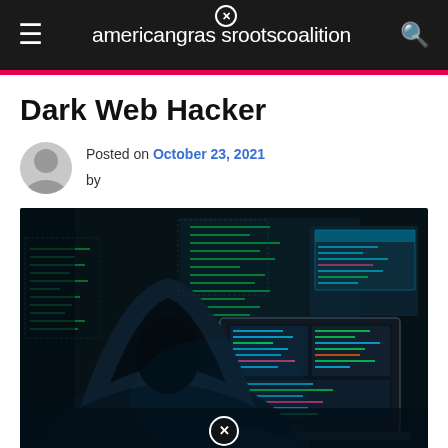americangrassrootscoalition
Dark Web Hacker
Posted on October 23, 2021 by
[Figure (photo): A hooded hacker figure sitting in the dark, typing on a laptop with green code and multiple screens visible in the background — dark web hacker illustration]